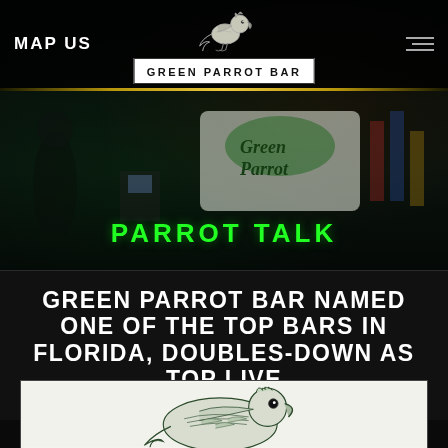MAP US | GREEN PARROT BAR
[Figure (illustration): Green Parrot Bar logo with parrot bird illustration above text box reading GREEN PARROT BAR]
PARROT TALK
GREEN PARROT BAR NAMED ONE OF THE TOP BARS IN FLORIDA, DOUBLES-DOWN AS TOP LIVE
[Figure (illustration): Green Parrot bird illustration, detailed woodcut-style drawing of a parrot in green and black on white background]